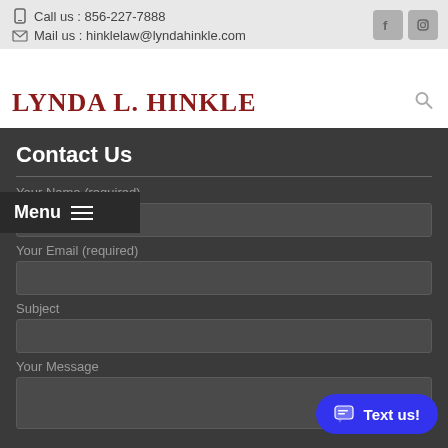Call us : 856-227-7888
Mail us : hinklelaw@lyndahinkle.com
Lynda L. Hinkle
Contact Us
Your Name (required)
Your Email (required)
Subject
Your Message
Menu
Text us!